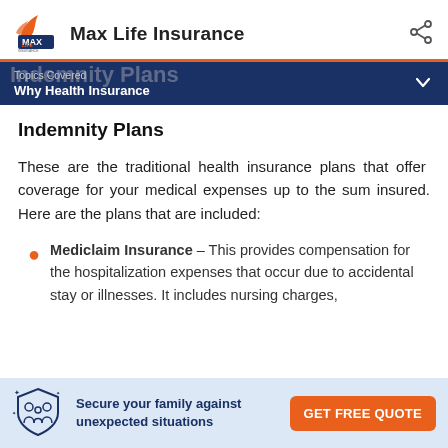Max Life Insurance
Topics Covered
Why Health Insurance
Indemnity Plans
These are the traditional health insurance plans that offer coverage for your medical expenses up to the sum insured. Here are the plans that are included:
Mediclaim Insurance – This provides compensation for the hospitalization expenses that occur due to accidental stay or illnesses. It includes nursing charges,
Secure your family against unexpected situations
GET FREE QUOTE